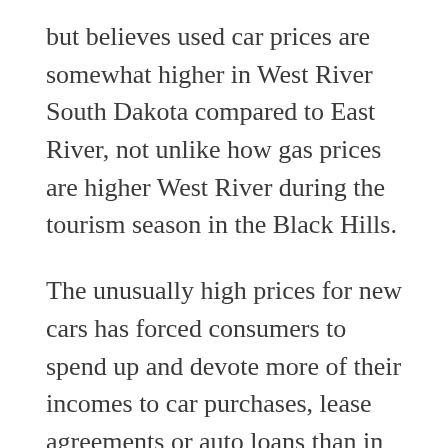but believes used car prices are somewhat higher in West River South Dakota compared to East River, not unlike how gas prices are higher West River during the tourism season in the Black Hills.
The unusually high prices for new cars has forced consumers to spend up and devote more of their incomes to car purchases, lease agreements or auto loans than in the past, experts said.
“Record prices and retail sales mean that, in aggregate, consumers will spend more money on new vehicles than any April on record,” according to a retail report released